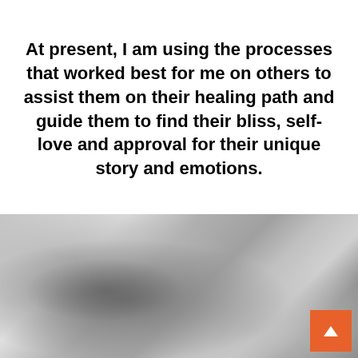At present, I am using the processes that worked best for me on others to assist them on their healing path and guide them to find their bliss, self-love and approval for their unique story and emotions.
[Figure (photo): Black and white close-up photograph of a person's face/skin, showing soft grayscale tones]